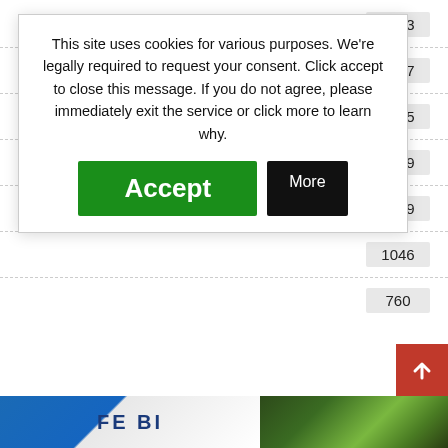Crime  2983
U.S. News  2297
Politics  1995
Opinions  1209
1049
1046
760
This site uses cookies for various purposes. We're legally required to request your consent. Click accept to close this message. If you do not agree, please immediately exit the service or click more to learn why.
Accept
More
[Figure (screenshot): FBI logo / blue background image strip at the bottom of the page]
[Figure (photo): Green foliage / nature photo at bottom right]